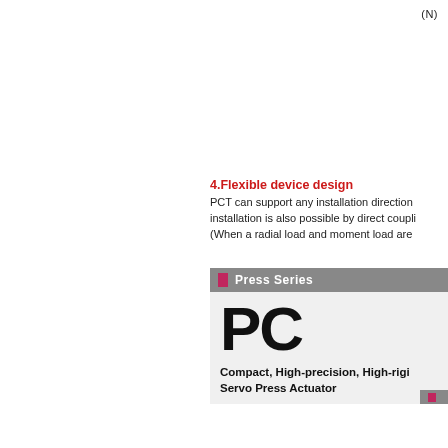(N)
4.Flexible device design
PCT can support any installation direction installation is also possible by direct coupli (When a radial load and moment load are
[Figure (infographic): Press Series product card with gray header bar containing pink square and 'Press Series' label, followed by a light gray body showing large bold 'PC' letters and subtitle 'Compact, High-precision, High-rigi Servo Press Actuator', with a gray footer bar containing a pink square.]